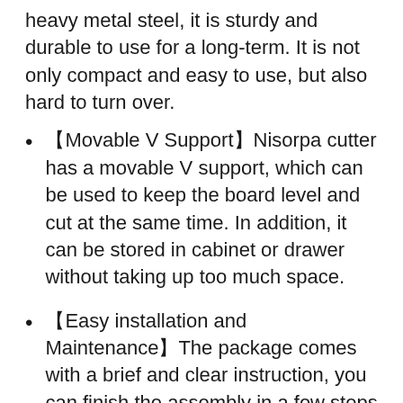heavy metal steel, it is sturdy and durable to use for a long-term. It is not only compact and easy to use, but also hard to turn over.
【Movable V Support】Nisorpa cutter has a movable V support, which can be used to keep the board level and cut at the same time. In addition, it can be stored in cabinet or drawer without taking up too much space.
【Easy installation and Maintenance】The package comes with a brief and clear instruction, you can finish the assembly in a few steps without anyone's help. What's more, a smooth surface makes it easier to clean and maintain.